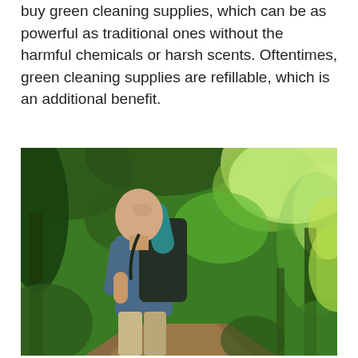buy green cleaning supplies, which can be as powerful as traditional ones without the harmful chemicals or harsh scents. Oftentimes, green cleaning supplies are refillable, which is an additional benefit.
[Figure (photo): A bald man with a large backpack and rolled camping mat looks upward in a lush green forest, standing on a dirt trail surrounded by trees and foliage.]